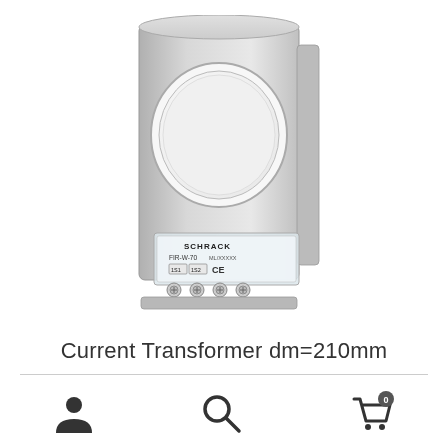[Figure (photo): Photo of a Schrack current transformer (ring-type/toroidal), model FIR-W-70, with a large circular opening (dm=210mm), light grey housing, and a transparent terminal block at the bottom showing 1S1 and 1S2 terminals and a CE marking label.]
Current Transformer dm=210mm